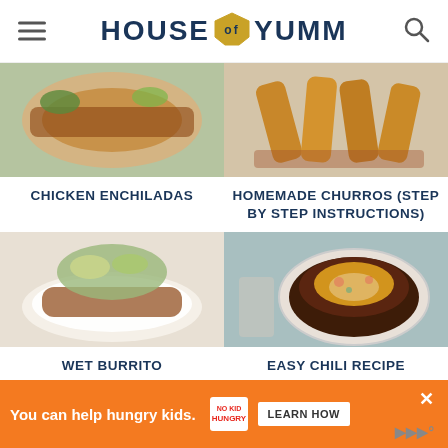HOUSE OF YUMM
[Figure (photo): Photo of chicken enchiladas]
CHICKEN ENCHILADAS
[Figure (photo): Photo of homemade churros]
HOMEMADE CHURROS (STEP BY STEP INSTRUCTIONS)
[Figure (photo): Photo of wet burrito]
WET BURRITO
[Figure (photo): Photo of easy chili recipe in a bowl]
EASY CHILI RECIPE
You can help hungry kids. NO KID HUNGRY LEARN HOW